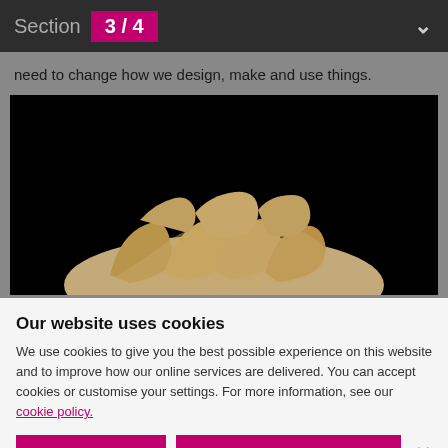Section 3 / 4
need to change how we design, make and use things.
[Figure (photo): Close-up photograph of fossil bone or tooth specimen against a black background]
Our website uses cookies
We use cookies to give you the best possible experience on this website and to improve how our online services are delivered. You can accept cookies or customise your settings. For more information, see our cookie policy.
Accept all | Set cookie preferences | ×